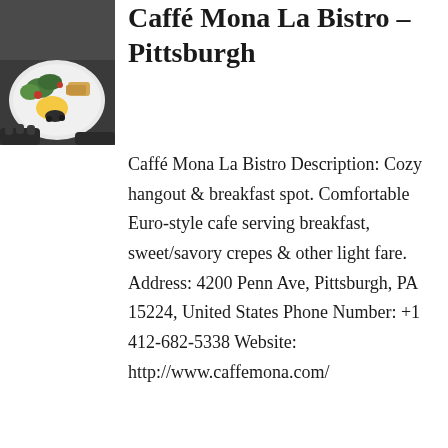[Figure (photo): Photo of a plate of food including salad, eggs, and bread on a dark background, held by hands]
Caffé Mona La Bistro – Pittsburgh
Caffé Mona La Bistro Description: Cozy hangout & breakfast spot. Comfortable Euro-style cafe serving breakfast, sweet/savory crepes & other light fare. Address: 4200 Penn Ave, Pittsburgh, PA 15224, United States Phone Number: +1 412-682-5338 Website: http://www.caffemona.com/